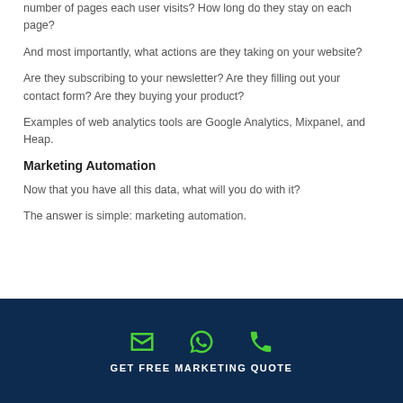number of pages each user visits? How long do they stay on each page?
And most importantly, what actions are they taking on your website?
Are they subscribing to your newsletter? Are they filling out your contact form? Are they buying your product?
Examples of web analytics tools are Google Analytics, Mixpanel, and Heap.
Marketing Automation
Now that you have all this data, what will you do with it?
The answer is simple: marketing automation.
GET FREE MARKETING QUOTE